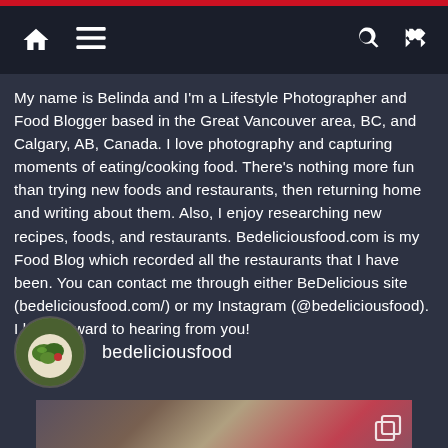[Navigation bar with home, menu, search, shuffle icons]
My name is Belinda and I'm a Lifestyle Photographer and Food Blogger based in the Great Vancouver area, BC, and Calgary, AB, Canada. I love photography and capturing moments of eating/cooking food. There's nothing more fun than trying new foods and restaurants, then returning home and writing about them. Also, I enjoy researching new recipes, foods, and restaurants. Bedeliciousfood.com is my Food Blog which recorded all the restaurants that I have been. You can contact me through either BeDelicious site (bedeliciousfood.com/) or my Instagram (@bedeliciousfood). I look forward to hearing from you!
[Figure (photo): Circular profile avatar showing a food/salad photo]
bedeliciousfood
[Figure (photo): Food photo at the bottom showing fish/seafood dishes with a carousel overlay icon]